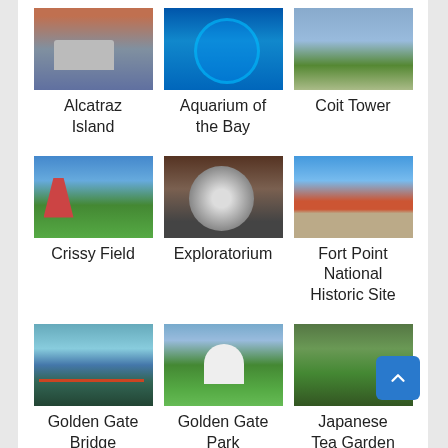[Figure (photo): Alcatraz Island photo]
Alcatraz Island
[Figure (photo): Aquarium of the Bay photo]
Aquarium of the Bay
[Figure (photo): Coit Tower photo]
Coit Tower
[Figure (photo): Crissy Field photo]
Crissy Field
[Figure (photo): Exploratorium photo]
Exploratorium
[Figure (photo): Fort Point National Historic Site photo]
Fort Point National Historic Site
[Figure (photo): Golden Gate Bridge photo]
Golden Gate Bridge
[Figure (photo): Golden Gate Park photo]
Golden Gate Park
[Figure (photo): Japanese Tea Garden photo]
Japanese Tea Garden